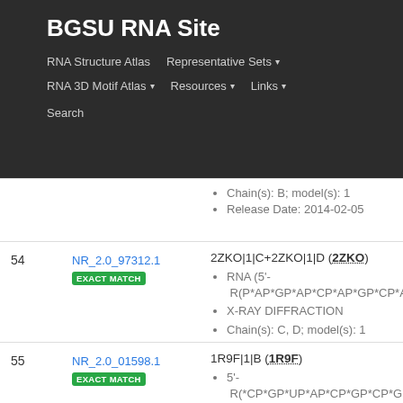BGSU RNA Site
RNA Structure Atlas | Representative Sets | RNA 3D Motif Atlas | Resources | Links | Search
Chain(s): B; model(s): 1
Release Date: 2014-02-05
| # | ID | Details |
| --- | --- | --- |
| 54 | NR_2.0_97312.1 EXACT MATCH | 2ZKO|1|C+2ZKO|1|D (2ZKO)
RNA (5'-R(P*AP*GP*AP*CP*AP*GP*CP*AP*UP*U[...]
X-RAY DIFFRACTION
Chain(s): C, D; model(s): 1
Release Date: 2008-10-14 |
| 55 | NR_2.0_01598.1 EXACT MATCH | 1R9F|1|B (1R9F)
5'-R(*CP*GP*UP*AP*CP*GP*CP*GP*GP*AP*A...
X-RAY DIFFRACTION
Chain(s): B; model(s): 1
Release Date: 2004-01-07 |